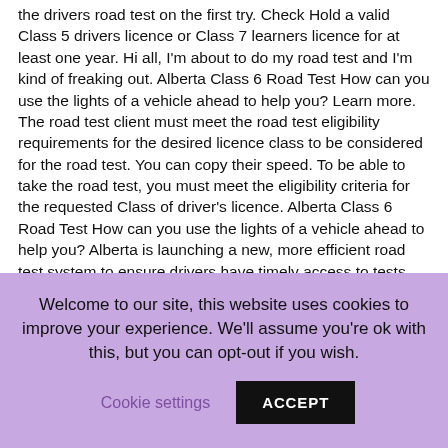the drivers road test on the first try. Check Hold a valid Class 5 drivers licence or Class 7 learners licence for at least one year. Hi all, I'm about to do my road test and I'm kind of freaking out. Alberta Class 6 Road Test How can you use the lights of a vehicle ahead to help you? Learn more. The road test client must meet the road test eligibility requirements for the desired licence class to be considered for the road test. You can copy their speed. To be able to take the road test, you must meet the eligibility criteria for the requested Class of driver's licence. Alberta Class 6 Road Test How can you use the lights of a vehicle ahead to help you? Alberta is launching a new, more efficient road test system to ensure drivers have timely access to tests while keeping Alberta roads safe. Go. Road Test Locations in Alberta Information is current as of October 23, 2013. If you pass the road test, you can re-class your license to include Class 6. You can copy their braking patterns. Messages 22 Reaction score 82
Welcome to our site, this website uses cookies to improve your experience. We'll assume you're ok with this, but you can opt-out if you wish.
Cookie settings
ACCEPT